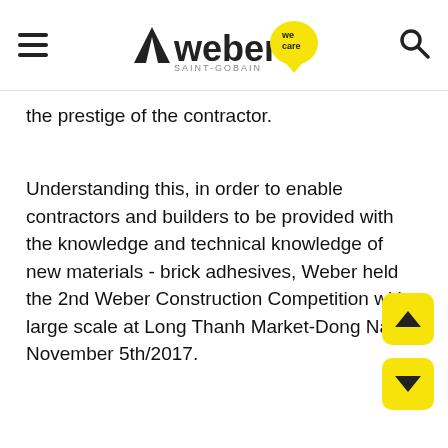Weber Saint-Gobain — we care
the prestige of the contractor.
Understanding this, in order to enable contractors and builders to be provided with the knowledge and technical knowledge of new materials - brick adhesives, Weber held the 2nd Weber Construction Competition with large scale at Long Thanh Market-Dong Nai on November 5th/2017.